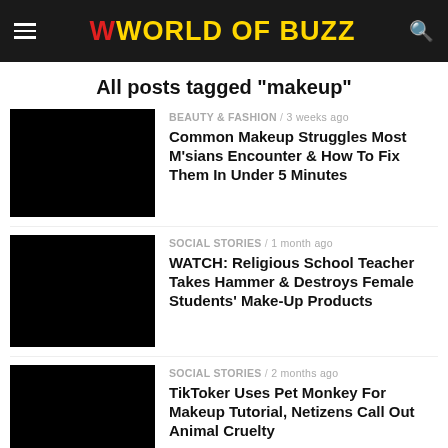World Of Buzz
All posts tagged "makeup"
BEAUTY & FASHION / 3 weeks ago — Common Makeup Struggles Most M'sians Encounter & How To Fix Them In Under 5 Minutes
SOCIAL STORIES / 1 month ago — WATCH: Religious School Teacher Takes Hammer & Destroys Female Students' Make-Up Products
SOCIAL STORIES / 2 months ago — TikToker Uses Pet Monkey For Makeup Tutorial, Netizens Call Out Animal Cruelty
LIFESTYLE / 2 months ago — "Keep it simple!" Here's How The Neutrogena 2-Step Skin Care Routine Can